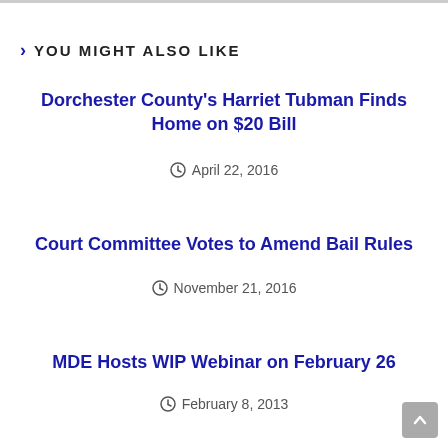YOU MIGHT ALSO LIKE
Dorchester County's Harriet Tubman Finds Home on $20 Bill
April 22, 2016
Court Committee Votes to Amend Bail Rules
November 21, 2016
MDE Hosts WIP Webinar on February 26
February 8, 2013